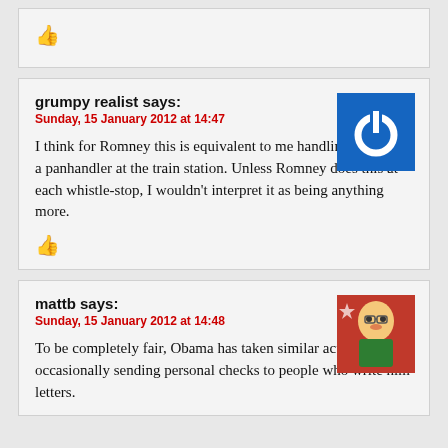[Figure (other): Thumbs up icon in red]
grumpy realist says:
Sunday, 15 January 2012 at 14:47
I think for Romney this is equivalent to me handling a buck to a panhandler at the train station. Unless Romney does this at each whistle-stop, I wouldn't interpret it as being anything more.
[Figure (other): Thumbs up icon in red]
mattb says:
Sunday, 15 January 2012 at 14:48
To be completely fair, Obama has taken similar actions, occasionally sending personal checks to people who write him letters.